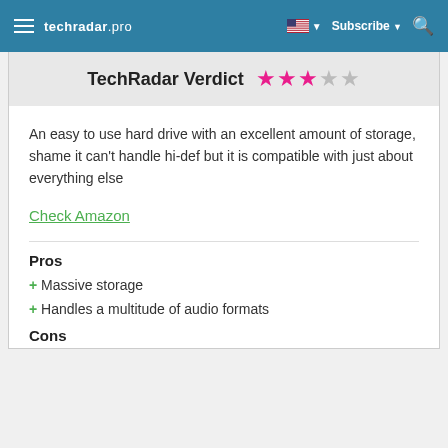techradar pro | Subscribe
TechRadar Verdict ★★★☆☆
An easy to use hard drive with an excellent amount of storage, shame it can't handle hi-def but it is compatible with just about everything else
Check Amazon
Pros
+ Massive storage
+ Handles a multitude of audio formats
Cons